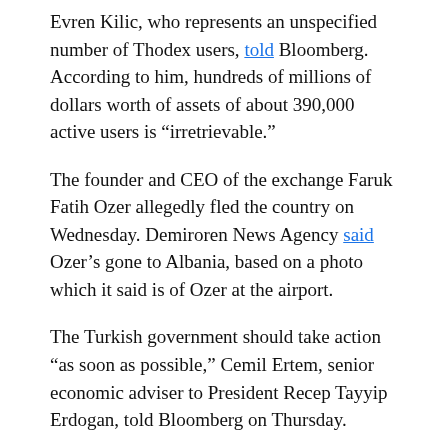Evren Kilic, who represents an unspecified number of Thodex users, told Bloomberg. According to him, hundreds of millions of dollars worth of assets of about 390,000 active users is “irretrievable.”
The founder and CEO of the exchange Faruk Fatih Ozer allegedly fled the country on Wednesday. Demiroren News Agency said Ozer’s gone to Albania, based on a photo which it said is of Ozer at the airport.
The Turkish government should take action “as soon as possible,” Cemil Ertem, senior economic adviser to President Recep Tayyip Erdogan, told Bloomberg on Thursday.
“Pyramid schemes are being